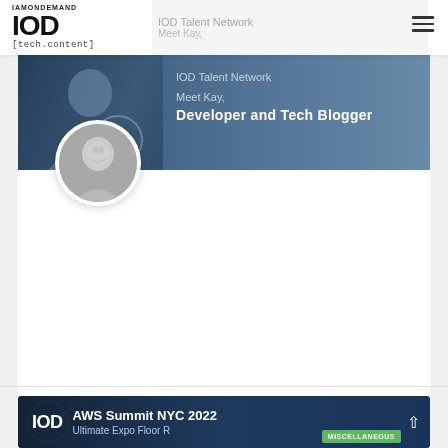IAMONDEMAND IOD [tech.content]
[Figure (screenshot): Hero banner image with text: IOD Talent Network, Meet Kay, Developer and Tech Blogger. Background shows a person silhouette on dark blue background.]
[Figure (photo): Circular avatar/profile photo of a smiling woman in grayscale]
IOD Talent Network: Meet Kay, a Developer and Tech Blogger
Making a living doing what you love is a privilege, but it can be a challenge to get there. Even for freelance bloggers who are
READ MORE »
[Figure (screenshot): Bottom preview card: IOD AWS Summit NYC 2022 Ultimate Expo Floor R... MISCELLANEOUS]